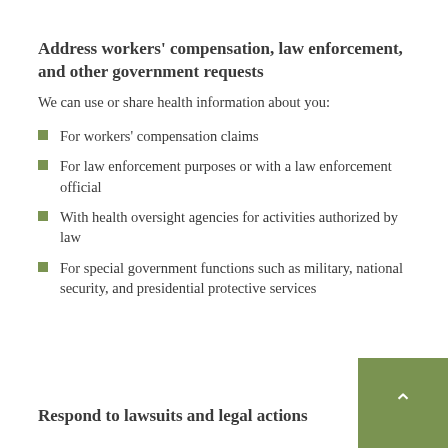Address workers' compensation, law enforcement, and other government requests
We can use or share health information about you:
For workers' compensation claims
For law enforcement purposes or with a law enforcement official
With health oversight agencies for activities authorized by law
For special government functions such as military, national security, and presidential protective services
Respond to lawsuits and legal actions